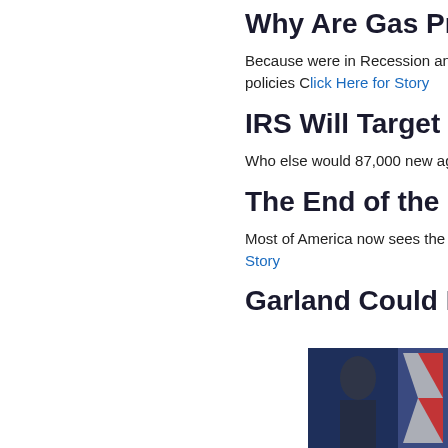Why Are Gas Prices Go…
Because were in Recession and d… policies Click Here for Story
IRS Will Target the Poor…
Who else would 87,000 new agen…
The End of the FBI
Most of America now sees the FB… Story
Garland Could Be in Tro…
[Figure (photo): Person in front of blue backdrop with flag, partially visible, cropped]